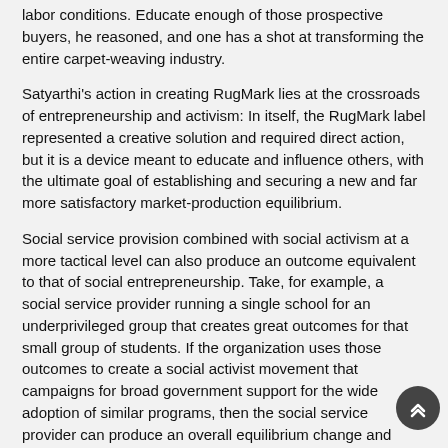labor conditions. Educate enough of those prospective buyers, he reasoned, and one has a shot at transforming the entire carpet-weaving industry.
Satyarthi's action in creating RugMark lies at the crossroads of entrepreneurship and activism: In itself, the RugMark label represented a creative solution and required direct action, but it is a device meant to educate and influence others, with the ultimate goal of establishing and securing a new and far more satisfactory market-production equilibrium.
Social service provision combined with social activism at a more tactical level can also produce an outcome equivalent to that of social entrepreneurship. Take, for example, a social service provider running a single school for an underprivileged group that creates great outcomes for that small group of students. If the organization uses those outcomes to create a social activist movement that campaigns for broad government support for the wide adoption of similar programs, then the social service provider can produce an overall equilibrium change and have the same effect as a social entrepreneur.
Bill Strickland's Manchester Bidwell Corporation , a nationally renowned inner-city arts education and job-training program, has launched the National Center for Arts & Technology to